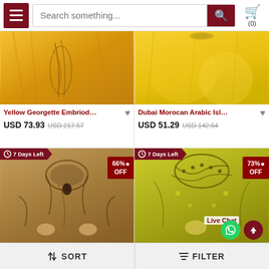[Figure (screenshot): E-commerce mobile app screenshot showing a header with hamburger menu, search bar, and cart icon, a 2-column product grid with Islamic/Arabic women's dresses, price information with discounts, and sort/filter footer bar]
Search something...
Yellow Georgette Embriodery ...
USD 73.93  USD 217.57
Dubai Morocan Arabic Islami...
USD 51.29  USD 142.64
7 Days Left
66% OFF
7 Days Left
73% OFF
Live Chat
SORT
FILTER